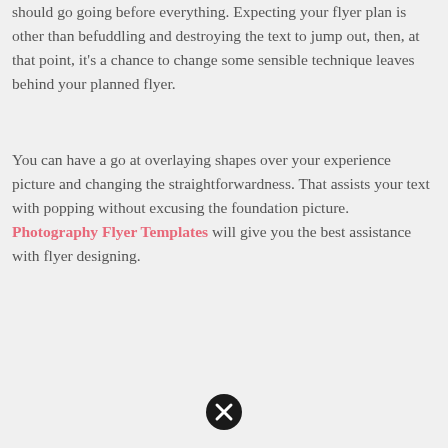should go going before everything. Expecting your flyer plan is other than befuddling and destroying the text to jump out, then, at that point, it's a chance to change some sensible technique leaves behind your planned flyer.
You can have a go at overlaying shapes over your experience picture and changing the straightforwardness. That assists your text with popping without excusing the foundation picture. Photography Flyer Templates will give you the best assistance with flyer designing.
[Figure (other): Close/dismiss button icon — black circle with white X mark]